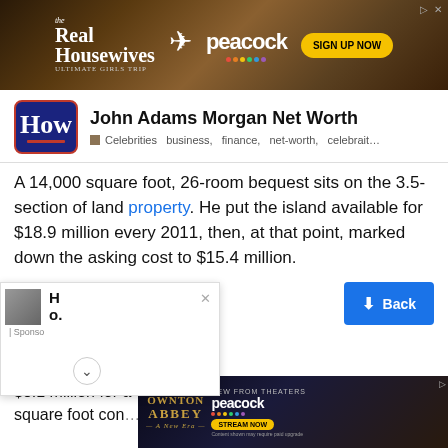[Figure (other): Advertisement banner for The Real Housewives Ultimate Girls Trip on Peacock — Sign Up Now button]
John Adams Morgan Net Worth
Celebrities  business,  finance,  net-worth,  celebrait…
A 14,000 square foot, 26-room bequest sits on the 3.5-section of land property. He put the island available for $18.9 million every 2011, then, at that point, marked down the asking cost to $15.4 million.
[Figure (other): Popup overlay with H o. text and Sponsored label, expand chevron button]
[Figure (other): Back button (blue)]
In 1998, … and Sonia paid $8.1 million for a 4,500 square foot con… million e…
[Figure (other): Advertisement banner for Downton Abbey: A New Era on Peacock — Stream Now button]